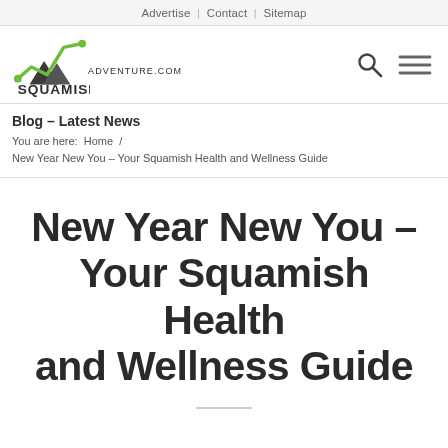Advertise | Contact | Sitemap
[Figure (logo): Squamish Adventure .com logo with mountain/line chart icon in green and dark grey]
Blog – Latest News
You are here: Home / New Year New You – Your Squamish Health and Wellness Guide
New Year New You – Your Squamish Health and Wellness Guide